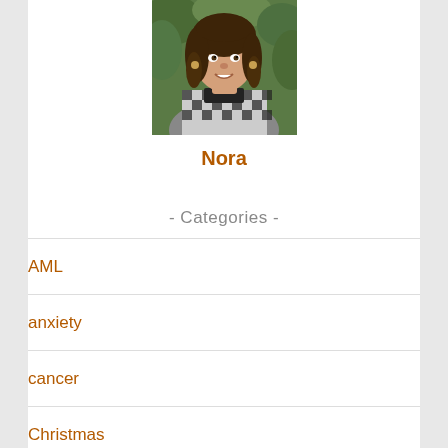[Figure (photo): Portrait photo of a young woman with long brown wavy hair, wearing a patterned black and white jacket, smiling, with green foliage in the background.]
Nora
- Categories -
AML
anxiety
cancer
Christmas
COVID-19